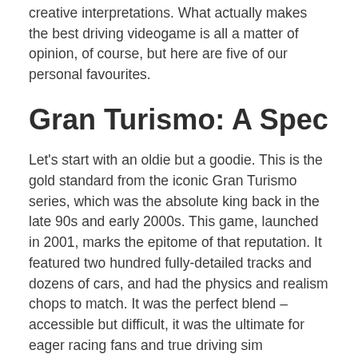creative interpretations. What actually makes the best driving videogame is all a matter of opinion, of course, but here are five of our personal favourites.
Gran Turismo: A Spec
Let's start with an oldie but a goodie. This is the gold standard from the iconic Gran Turismo series, which was the absolute king back in the late 90s and early 2000s. This game, launched in 2001, marks the epitome of that reputation. It featured two hundred fully-detailed tracks and dozens of cars, and had the physics and realism chops to match. It was the perfect blend – accessible but difficult, it was the ultimate for eager racing fans and true driving sim enthusiasts.
It looks plenty dated now of course, 20 years later, but some people think that it was so good it might have even worked against the series in the long run – it was such a big leap forward that its successors struggled to match it. It remains a firm favourite for